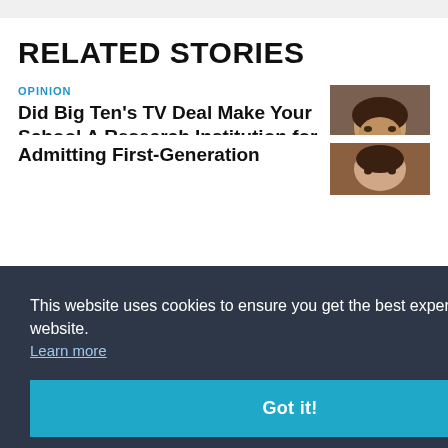RELATED STORIES
OPINION
Did Big Ten's TV Deal Make Your School A Research Institution for the NFL?
[Figure (photo): Headshot of a man, close-up portrait]
This website uses cookies to ensure you get the best experience on our website. Learn more
Got it!
Admitting First-Generation
[Figure (photo): Partial headshot of a woman]
[Figure (photo): Partial headshot of a woman, bottom of page]